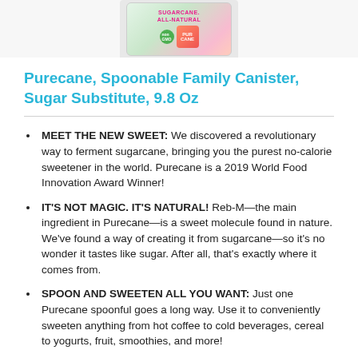[Figure (photo): Product image of Purecane Spoonable Family Canister Sugar Substitute, showing the canister with sugarcane branding, all-natural label, partially cropped at top of page]
Purecane, Spoonable Family Canister, Sugar Substitute, 9.8 Oz
MEET THE NEW SWEET: We discovered a revolutionary way to ferment sugarcane, bringing you the purest no-calorie sweetener in the world. Purecane is a 2019 World Food Innovation Award Winner!
IT'S NOT MAGIC. IT'S NATURAL! Reb-M—the main ingredient in Purecane—is a sweet molecule found in nature. We've found a way of creating it from sugarcane—so it's no wonder it tastes like sugar. After all, that's exactly where it comes from.
SPOON AND SWEETEN ALL YOU WANT: Just one Purecane spoonful goes a long way. Use it to conveniently sweeten anything from hot coffee to cold beverages, cereal to yogurts, fruit, smoothies, and more!
EASIER FOR YOUR BODY TO PROCESS: Diabetes-